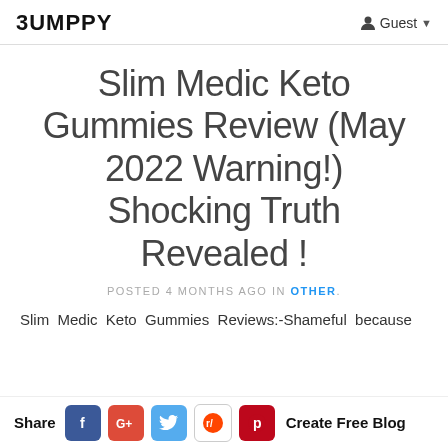BUMPPY  Guest
Slim Medic Keto Gummies Review (May 2022 Warning!) Shocking Truth Revealed !
POSTED 4 MONTHS AGO IN OTHER.
Slim Medic Keto Gummies Reviews:-Shameful because
Share  f  G+  t  reddit  p  Create Free Blog